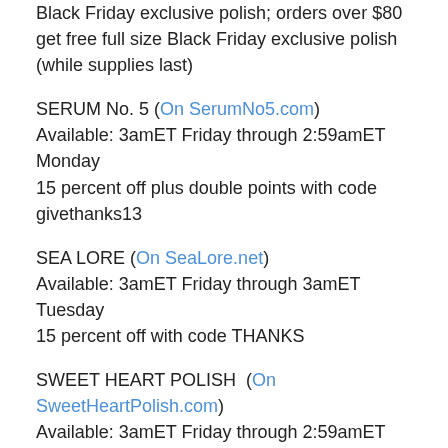Black Friday exclusive polish; orders over $80 get free full size Black Friday exclusive polish (while supplies last)
SERUM No. 5 (On SerumNo5.com)
Available: 3amET Friday through 2:59amET Monday
15 percent off plus double points with code givethanks13
SEA LORE (On SeaLore.net)
Available: 3amET Friday through 3amET Tuesday
15 percent off with code THANKS
SWEET HEART POLISH (On SweetHeartPolish.com)
Available: 3amET Friday through 2:59amET Tuesday
20 percent off polishes, plus launch of LE Black Friday polish available free with purchase of $30
PRETTY & POLISHED (On ShopPrettyandPolished.com)
Available: 10amET through 7:30pmET Friday
Allowance will be announced and will be a minimum of...